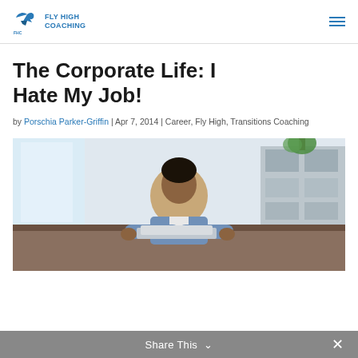FLY HIGH COACHING
The Corporate Life: I Hate My Job!
by Porschia Parker-Griffin | Apr 7, 2014 | Career, Fly High, Transitions Coaching
[Figure (photo): A man sitting at a desk looking stressed or focused, working at a computer in an office setting with bookshelves in the background.]
Share This